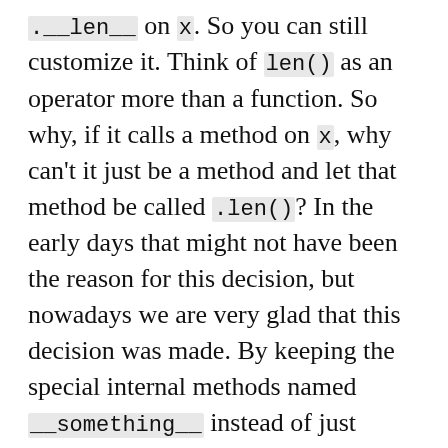.__len__ on x. So you can still customize it. Think of len() as an operator more than a function. So why, if it calls a method on x, why can't it just be a method and let that method be called .len()? In the early days that might not have been the reason for this decision, but nowadays we are very glad that this decision was made. By keeping the special internal methods named __something__ instead of just something we can adapt to pretty much any API in Python. Because none of the regular method names has any meaning it means we can use those methods from the third-party